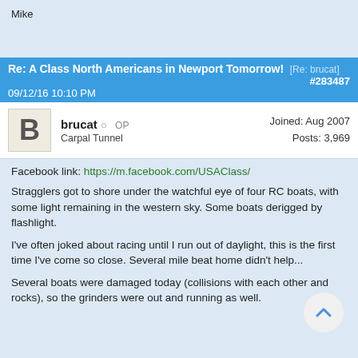Mike
Re: A Class North Americans in Newport Tomorrow! [Re: brucat] #283487
09/12/16 10:10 PM
brucat OP
Carpal Tunnel
Joined: Aug 2007
Posts: 3,969
Facebook link: https://m.facebook.com/USAClass/
Stragglers got to shore under the watchful eye of four RC boats, with some light remaining in the western sky. Some boats derigged by flashlight.
I've often joked about racing until I run out of daylight, this is the first time I've come so close. Several mile beat home didn't help...
Several boats were damaged today (collisions with each other and rocks), so the grinders were out and running as well.